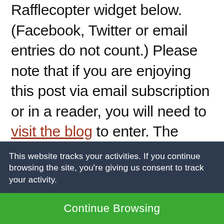Rafflecopter widget below. (Facebook, Twitter or email entries do not count.) Please note that if you are enjoying this post via email subscription or in a reader, you will need to visit the blog to enter. The Rafflecopter widget might take a few moments to load, so if it doesn't appear immediately, don't lose heart! 🙂
This website tracks your activities. If you continue browsing the site, you're giving us consent to track your activity.
Continue Browsing